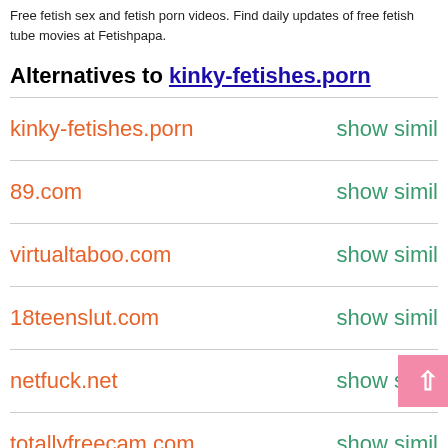Free fetish sex and fetish porn videos. Find daily updates of free fetish tube movies at Fetishpapa.
Alternatives to kinky-fetishes.porn
kinky-fetishes.porn   show simil
89.com   show simil
virtualtaboo.com   show simil
18teenslut.com   show simil
netfuck.net   show simil
totallyfreecam.com   show simil
linabetter.com   show simil